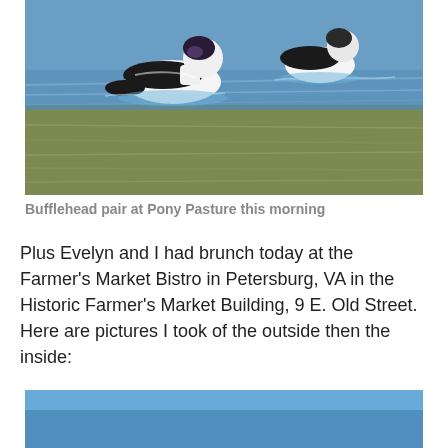[Figure (photo): Two bufflehead ducks swimming on water at Pony Pasture. Birds have distinctive black and white coloring. Water is blue-green with ripples.]
Bufflehead pair at Pony Pasture this morning
Plus Evelyn and I had brunch today at the Farmer's Market Bistro in Petersburg, VA in the Historic Farmer's Market Building, 9 E. Old Street. Here are pictures I took of the outside then the inside:
[Figure (photo): Partial view of building exterior, showing a blue sky.]